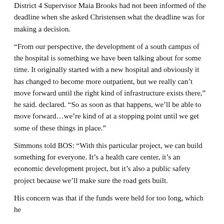District 4 Supervisor Maia Brooks had not been informed of the deadline when she asked Christensen what the deadline was for making a decision.
“From our perspective, the development of a south campus of the hospital is something we have been talking about for some time. It originally started with a new hospital and obviously it has changed to become more outpatient, but we really can’t move forward until the right kind of infrastructure exists there,” he said. declared. “So as soon as that happens, we’ll be able to move forward…we’re kind of at a stopping point until we get some of these things in place.”
Simmons told BOS: “With this particular project, we can build something for everyone. It’s a health care center, it’s an economic development project, but it’s also a public safety project because we’ll make sure the road gets built.
His concern was that if the funds were held for too long, which he